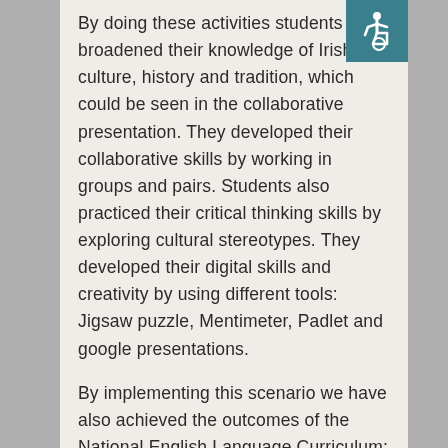[Figure (illustration): Accessibility icon (wheelchair symbol) in white on teal/dark cyan background, top right corner]
By doing these activities students broadened their knowledge of Irish culture, history and tradition, which could be seen in the collaborative presentation. They developed their collaborative skills by working in groups and pairs. Students also practiced their critical thinking skills by exploring cultural stereotypes. They developed their digital skills and creativity by using different tools: Jigsaw puzzle, Mentimeter, Padlet and google presentations.
By implementing this scenario we have also achieved the outcomes of the National English Language Curriculum: